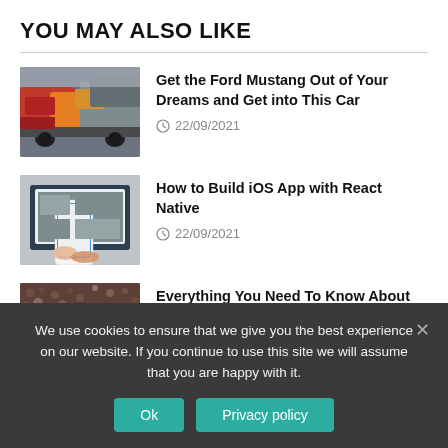YOU MAY ALSO LIKE
Get the Ford Mustang Out of Your Dreams and Get into This Car — 22/09/2021
How to Build iOS App with React Native — 22/09/2021
Everything You Need To Know About Cannabis Seeds
We use cookies to ensure that we give you the best experience on our website. If you continue to use this site we will assume that you are happy with it.